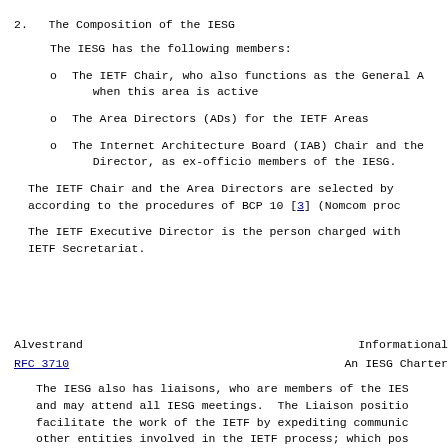2.   The Composition of the IESG
The IESG has the following members:
o  The IETF Chair, who also functions as the General A...
   when this area is active
o  The Area Directors (ADs) for the IETF Areas
o  The Internet Architecture Board (IAB) Chair and the...
   Director, as ex-officio members of the IESG.
The IETF Chair and the Area Directors are selected by...
according to the procedures of BCP 10 [3] (Nomcom proc...
The IETF Executive Director is the person charged with...
IETF Secretariat.
Alvestrand                    Informational
RFC 3710                          An IESG Charter
The IESG also has liaisons, who are members of the IES...
and may attend all IESG meetings.  The Liaison positio...
facilitate the work of the IETF by expediting communic...
other entities involved in the IETF process; which pos...